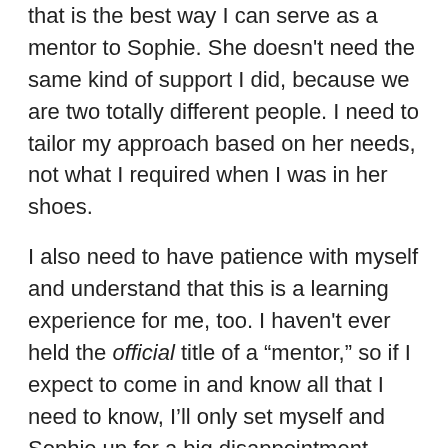that is the best way I can serve as a mentor to Sophie. She doesn't need the same kind of support I did, because we are two totally different people. I need to tailor my approach based on her needs, not what I required when I was in her shoes.
I also need to have patience with myself and understand that this is a learning experience for me, too. I haven't ever held the official title of a “mentor,” so if I expect to come in and know all that I need to know, I'll only set myself and Sophie up for a big disappointment.
So far, this has been working well. I’ve learned to go with the flow and let Sophie set the pace for the relationship, while chiming in with advice and suggestions where appropriate and staying as approachable and available as possible. It’s surreal to have gone full-circle from a mentee to a mentor, but I’m excited to apply what I learned from Lisa to